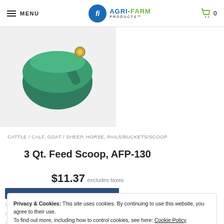MENU | AGRI-FARM PRODUCTS | Cart 0
[Figure (photo): Green 3 Qt. Feed Scoop product photo on light gray background]
CATTLE / CALF, GOAT / SHEEP, HORSE, PAILS/BUCKETS/SCOOP
3 Qt. Feed Scoop, AFP-130
$11.37 excludes taxes
Privacy & Cookies: This site uses cookies. By continuing to use this website, you agree to their use. To find out more, including how to control cookies, see here: Cookie Policy
Cookie Settings | Accept | Reject | Close and accept